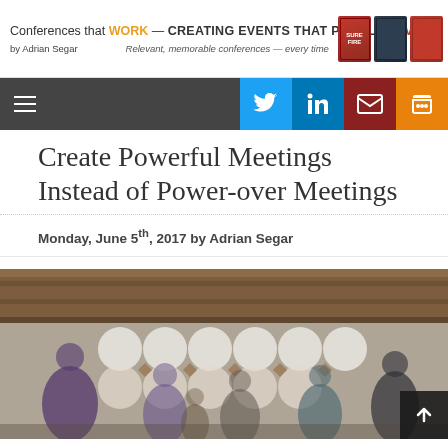Conferences that WORK — CREATING EVENTS THAT PEOPLE LOVE
by Adrian Segar   Relevant, memorable conferences — every time
Create Powerful Meetings Instead of Power-over Meetings
Monday, June 5th, 2017 by Adrian Segar
[Figure (photo): Blurred photo of people networking/mingling at a conference event, with a decorative white circle backdrop and wood-paneled ceiling.]